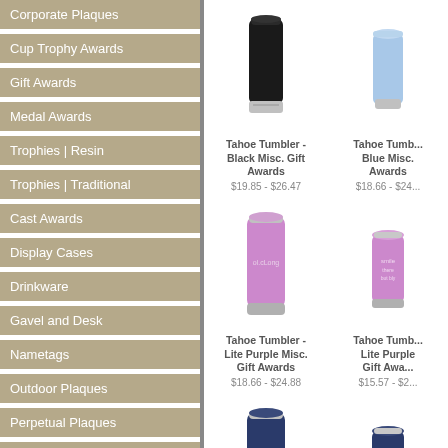Corporate Plaques
Cup Trophy Awards
Gift Awards
Medal Awards
Trophies | Resin
Trophies | Traditional
Cast Awards
Display Cases
Drinkware
Gavel and Desk
Nametags
Outdoor Plaques
Perpetual Plaques
Resin Sculptures
Trophies | Ceramic
Wine Gifts
Wood Awards
[Figure (photo): Tahoe Tumbler Black]
Tahoe Tumbler - Black Misc. Gift Awards
$19.85 - $26.47
[Figure (photo): Tahoe Tumbler Blue]
Tahoe Tumbler - Blue Misc. Awards
$18.66 - $24...
[Figure (photo): Tahoe Tumbler Lite Purple tall]
Tahoe Tumbler - Lite Purple Misc. Gift Awards
$18.66 - $24.88
[Figure (photo): Tahoe Tumbler Lite Purple wine]
Tahoe Tumbler - Lite Purple Gift Awards
$15.57 - $2...
[Figure (photo): Tahoe Tumbler Navy tall Best Lawyer Ever]
Tahoe Tumbler - Navy Misc. Gift Awards
[Figure (photo): Tahoe Tumbler Navy wine Zapda Z]
Tahoe Tumbler - Navy Misc. Awards